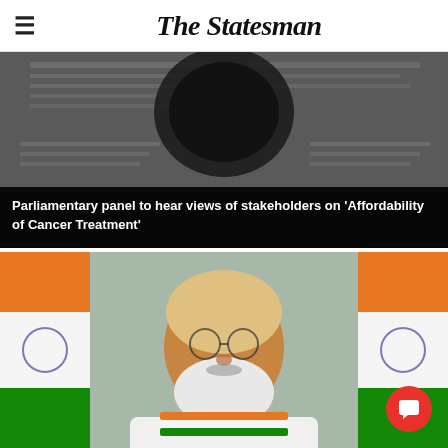The Statesman
[Figure (photo): Close-up photo of a newspaper with a magnifying glass or dark object in center, blurred/dark tone]
Parliamentary panel to hear views of stakeholders on 'Affordability of Cancer Treatment'
[Figure (photo): Photo of a bearded Indian man (PM Narendra Modi) speaking, with Indian tricolor flags in background]